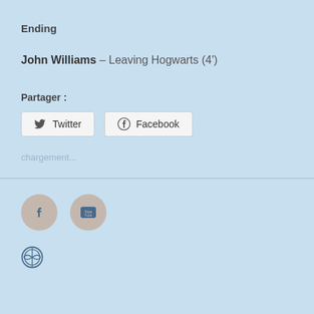Ending
John Williams – Leaving Hogwarts (4')
Partager :
Twitter  Facebook
chargement...
[Figure (other): Social media icons: Facebook circle and YouTube circle buttons]
[Figure (logo): WordPress logo icon]